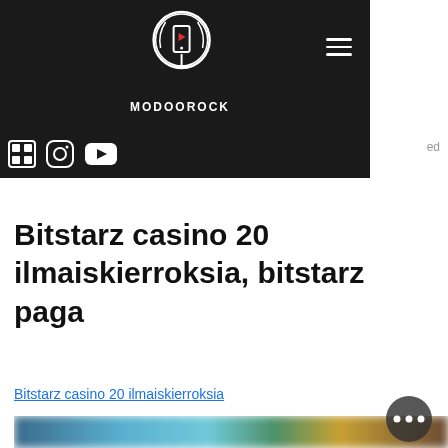MODOOROCK
Best Answer
Bitstarz casino 20 ilmaiskierroksia, bitstarz paga
Bitstarz casino 20 ilmaiskierroksia
[Figure (photo): Blurred screenshot of a gaming or casino website interface with colorful characters and backgrounds]